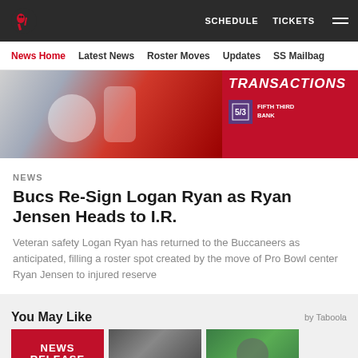Tampa Bay Buccaneers website header with SCHEDULE, TICKETS navigation and hamburger menu
News Home | Latest News | Roster Moves | Updates | SS Mailbag
[Figure (photo): Football player in red jersey with TRANSACTIONS banner and Fifth Third Bank sponsor logo]
NEWS
Bucs Re-Sign Logan Ryan as Ryan Jensen Heads to I.R.
Veteran safety Logan Ryan has returned to the Buccaneers as anticipated, filling a roster spot created by the move of Pro Bowl center Ryan Jensen to injured reserve
You May Like
[Figure (screenshot): Three thumbnail images: News Release red banner, grey background photo, and green field photo]
Social share icons: Facebook, Twitter, Email, Link